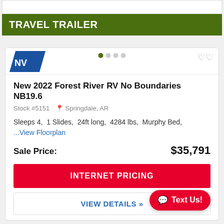TRAVEL TRAILER
New 2022 Forest River RV No Boundaries NB19.6
Stock #5151  Springdale, AR
Sleeps 4,  1 Slides,  24ft long,  4284 lbs,  Murphy Bed,
...View Floorplan
Sale Price:  $35,791
INTERNET PRICING
VIEW DETAILS »